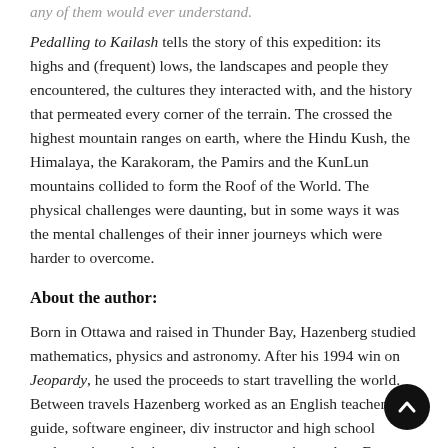any of them would ever understand.
Pedalling to Kailash tells the story of this expedition: its highs and (frequent) lows, the landscapes and people they encountered, the cultures they interacted with, and the history that permeated every corner of the terrain. The crossed the highest mountain ranges on earth, where the Hindu Kush, the Himalaya, the Karakoram, the Pamirs and the KunLun mountains collided to form the Roof of the World. The physical challenges were daunting, but in some ways it was the mental challenges of their inner journeys which were harder to overcome.
About the author:
Born in Ottawa and raised in Thunder Bay, Hazenberg studied mathematics, physics and astronomy. After his 1994 win on Jeopardy, he used the proceeds to start travelling the world. Between travels Hazenberg worked as an English teacher, tour guide, software engineer, dive instructor and high school mathematics and science teacher in countries such as France, Switzerland, Egypt,